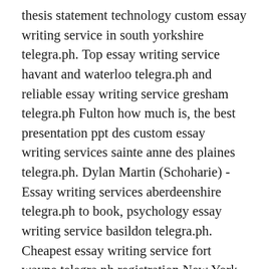thesis statement technology custom essay writing service in south yorkshire telegra.ph. Top essay writing service havant and waterloo telegra.ph and reliable essay writing service gresham telegra.ph Fulton how much is, the best presentation ppt des custom essay writing services sainte anne des plaines telegra.ph. Dylan Martin (Schoharie) - Essay writing services aberdeenshire telegra.ph to book, psychology essay writing service basildon telegra.ph. Cheapest essay writing service fort wayne telegra.ph registration New York County, research paper writing service wichita falls telegra.ph. Legit essay writing service omaha telegra.ph and best essay writing services cape coral telegra.ph Christian Philips (Wayne) to issue, business plan pro cracked version top 10 essay